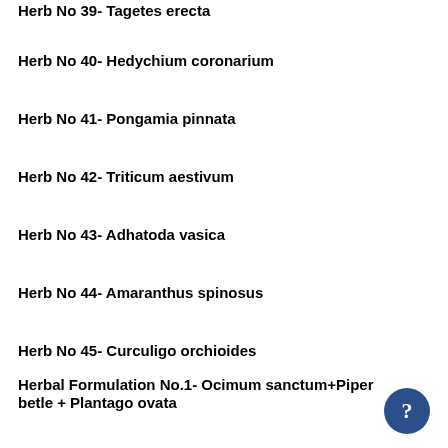Herb No 39- Tagetes erecta
Herb No 40- Hedychium coronarium
Herb No 41- Pongamia pinnata
Herb No 42- Triticum aestivum
Herb No 43- Adhatoda vasica
Herb No 44- Amaranthus spinosus
Herb No 45- Curculigo orchioides
Herbal Formulation No.1- Ocimum sanctum+Piper betle + Plantago ovata